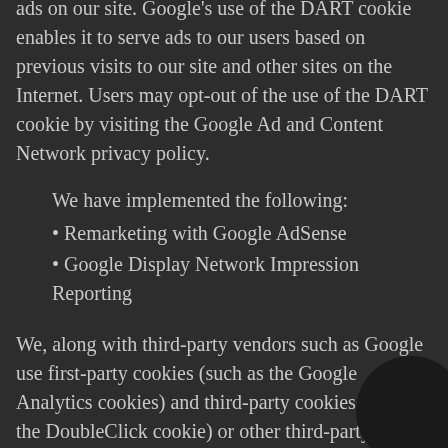ads on our site. Google's use of the DART cookie enables it to serve ads to our users based on previous visits to our site and other sites on the Internet. Users may opt-out of the use of the DART cookie by visiting the Google Ad and Content Network privacy policy.
We have implemented the following:
Remarketing with Google AdSense
Google Display Network Impression Reporting
We, along with third-party vendors such as Google use first-party cookies (such as the Google Analytics cookies) and third-party cookies (such as the DoubleClick cookie) or other third-party identifiers together to compile data regarding user interactions with ad impressions and other ad service functions as they relate to our website.